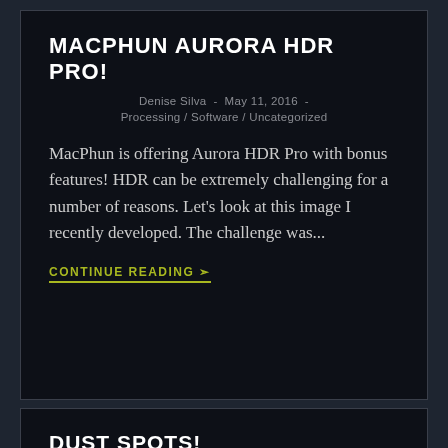MACPHUN AURORA HDR PRO!
Denise Silva  -  May 11, 2016  -
Processing / Software / Uncategorized
MacPhun is offering Aurora HDR Pro with bonus features! HDR can be extremely challenging for a number of reasons. Let's look at this image I recently developed. The challenge was...
CONTINUE READING ❧
DUST SPOTS!
Denise Silva  -  December 22, 2015  -
Processing / Software / Tutorials / Uncategorized